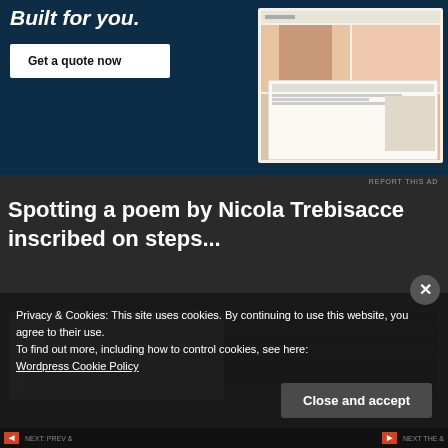[Figure (screenshot): Advertisement banner with dark navy background showing 'Built for you.' text, a 'Get a quote now' button, and a website mockup showing a photo grid on the right side.]
REPORT THIS AD
Spotting a poem by Nicola Trebisacce inscribed on steps...
[Figure (photo): Black and white photograph showing steps or architectural detail, partially visible.]
Privacy & Cookies: This site uses cookies. By continuing to use this website, you agree to their use.
To find out more, including how to control cookies, see here:
Wordpress Cookie Policy
Close and accept